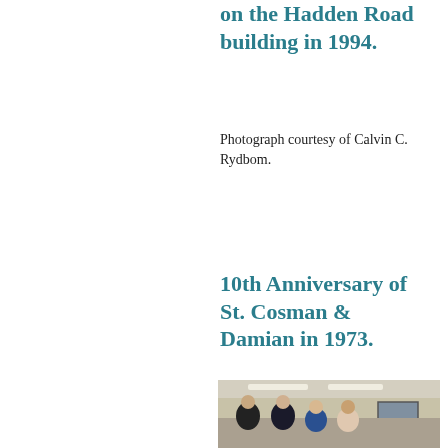on the Hadden Road building in 1994.
Photograph courtesy of Calvin C. Rydbom.
10th Anniversary of St. Cosman & Damian in 1973.
[Figure (photo): Group photo of four people standing together indoors, taken at the 10th Anniversary of St. Cosman & Damian in 1973. Two men and two women are posing in front of a wall with a framed artwork.]